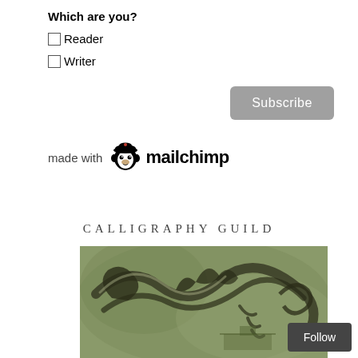Which are you?
Reader
Writer
Subscribe
[Figure (logo): Mailchimp logo with monkey mascot head and the text 'mailchimp' in bold black, preceded by 'made with' in grey]
CALLIGRAPHY GUILD
[Figure (photo): A green-tinted artistic calligraphy dragon image with flowing brush strokes forming a dragon shape against a muted greenish background]
Follow